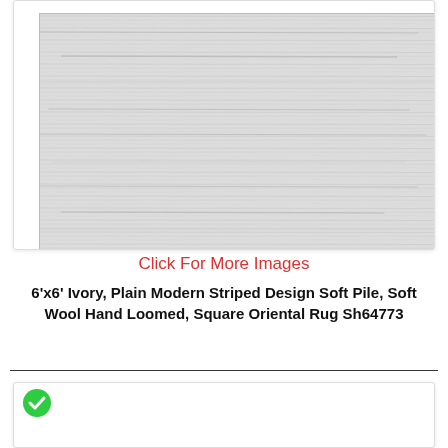[Figure (photo): Close-up photo of an ivory/light grey striped modern rug with horizontal texture lines, soft pile wool surface]
Click For More Images
6'x6' Ivory, Plain Modern Striped Design Soft Pile, Soft Wool Hand Loomed, Square Oriental Rug Sh64773
[Figure (photo): Photo of an oriental rug with colorful floral and botanical pattern on ivory background with decorative border, featuring red, blue, yellow and green motifs]